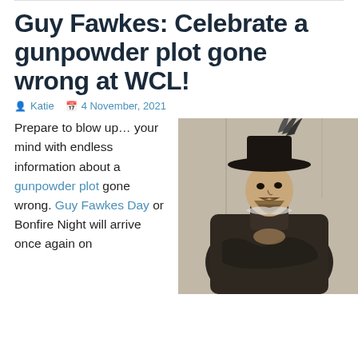Guy Fawkes: Celebrate a gunpowder plot gone wrong at WCL!
Katie  4 November, 2021
Prepare to blow up... your mind with endless information about a gunpowder plot gone wrong. Guy Fawkes Day or Bonfire Night will arrive once again on
[Figure (illustration): Historical engraving/illustration of Guy Fawkes wearing a wide-brimmed hat with feathers and a dark cloak]